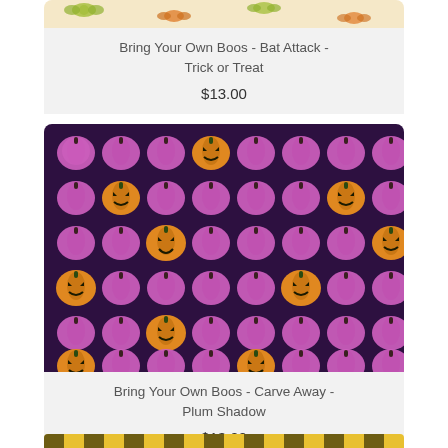[Figure (photo): Partial view of a fabric product card showing a light peach/cream background with small orange bats and green leaves pattern (Bat Attack - Trick or Treat)]
Bring Your Own Boos - Bat Attack - Trick or Treat
$13.00
[Figure (photo): Fabric product showing a dark plum/purple background covered with rows of pink pumpkins and scattered orange jack-o-lantern pumpkins (Carve Away - Plum Shadow)]
Bring Your Own Boos - Carve Away - Plum Shadow
$13.00
[Figure (photo): Partial view of a third fabric product card at the bottom, showing a yellow and black pattern (partially visible)]